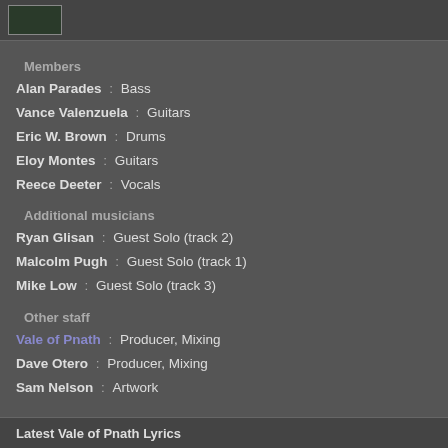[Figure (photo): Small thumbnail image of band/album art, dark green tones]
Members
Alan Parades : Bass
Vance Valenzuela : Guitars
Eric W. Brown : Drums
Eloy Montes : Guitars
Reece Deeter : Vocals
Additional musicians
Ryan Glisan : Guest Solo (track 2)
Malcolm Pugh : Guest Solo (track 1)
Mike Low : Guest Solo (track 3)
Other staff
Vale of Pnath : Producer, Mixing
Dave Otero : Producer, Mixing
Sam Nelson : Artwork
Latest Vale of Pnath Lyrics